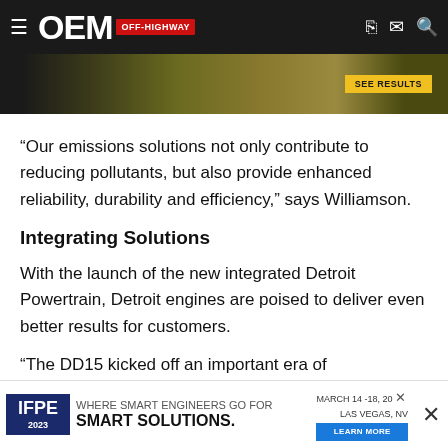OEM OFF-HIGHWAY
[Figure (photo): Top advertisement banner showing rocky/earthy terrain with a yellow 'See Results' button]
“Our emissions solutions not only contribute to reducing pollutants, but also provide enhanced reliability, durability and efficiency,” says Williamson.
Integrating Solutions
With the launch of the new integrated Detroit Powertrain, Detroit engines are poised to deliver even better results for customers.
“The DD15 kicked off an important era of development and innovation... marks the culmination of our achievements,” says Williamson. “The
[Figure (screenshot): Bottom advertisement for IFPE 2023 - WHERE SMART ENGINEERS GO FOR SMART SOLUTIONS. MARCH 14-18, 20, LAS VEGAS, NV with LEARN MORE button]